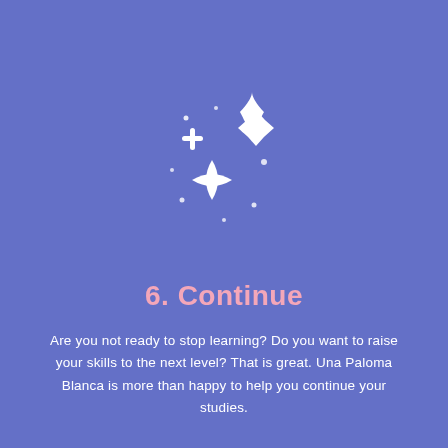[Figure (illustration): White sparkles/magic stars icon on purple background — one large 4-pointed star on the right, one smaller 4-pointed star on the lower left, a plus/cross symbol in the upper left, and small dots scattered around.]
6. Continue
Are you not ready to stop learning? Do you want to raise your skills to the next level? That is great. Una Paloma Blanca is more than happy to help you continue your studies.